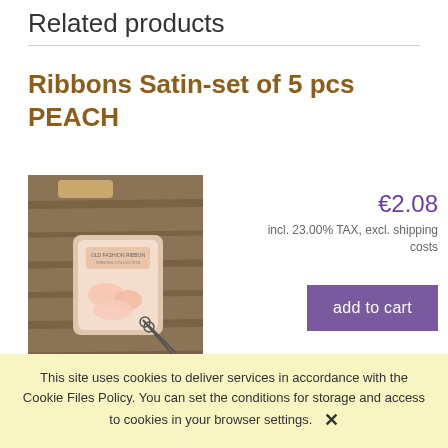Related products
Ribbons Satin-set of 5 pcs PEACH
[Figure (photo): Product photo of Ribbons Satin-set of 5 pcs PEACH showing peach-colored satin ribbons in packaging against a rustic wood background]
€2.08
incl. 23.00% TAX, excl. shipping costs
add to cart
Ribbons Satin-set of 5 pcs
This site uses cookies to deliver services in accordance with the Cookie Files Policy. You can set the conditions for storage and access to cookies in your browser settings. ✕